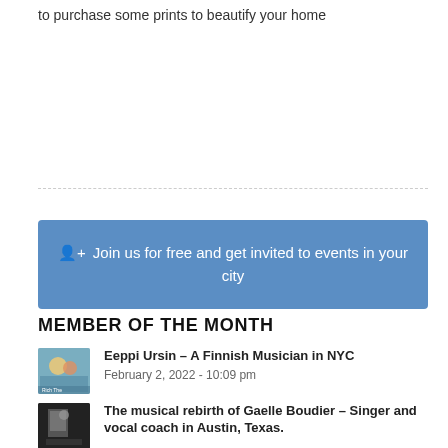to purchase some prints to beautify your home
[Figure (other): Blue call-to-action button with person-add icon and text: Join us for free and get invited to events in your city]
MEMBER OF THE MONTH
[Figure (photo): Thumbnail photo for Eeppi Ursin article - Finnish musician]
Eeppi Ursin – A Finnish Musician in NYC
February 2, 2022 - 10:09 pm
[Figure (photo): Thumbnail photo for Gaelle Boudier article - dark portrait]
The musical rebirth of Gaelle Boudier – Singer and vocal coach in Austin, Texas.